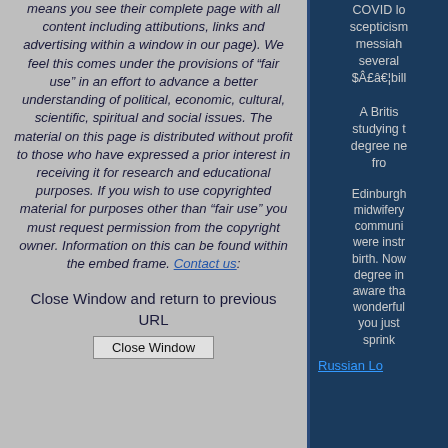means you see their complete page with all content including attibutions, links and advertising within a window in our page). We feel this comes under the provisions of “fair use” in an effort to advance a better understanding of political, economic, cultural, scientific, spiritual and social issues. The material on this page is distributed without profit to those who have expressed a prior interest in receiving it for research and educational purposes. If you wish to use copyrighted material for purposes other than “fair use” you must request permission from the copyright owner. Information on this can be found within the embed frame. Contact us:
Close Window and return to previous URL
Close Window
COVID lo... scepticism... messiah ... several... $Â£â¬¦bill...
A Britis... studying t... degree ne... fro...
Edinburgh... midwifery... communi... were instr... birth. Now... degree in... aware tha... wonderful... you just... sprink...
Russian Lo...